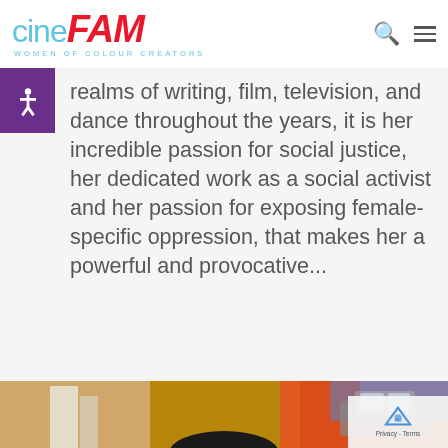cineFAM - WOMEN OF COLOUR CREATORS
realms of writing, film, television, and dance throughout the years, it is her incredible passion for social justice, her dedicated work as a social activist and her passion for exposing female-specific oppression, that makes her a powerful and provocative...
[Figure (photo): Photograph of a person in front of a colorful mural depicting a car and abstract painted background in warm and cool tones]